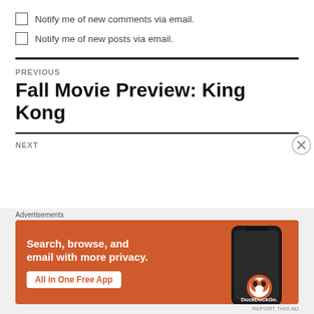Notify me of new comments via email.
Notify me of new posts via email.
PREVIOUS
Fall Movie Preview: King Kong
NEXT
Advertisements
[Figure (infographic): DuckDuckGo advertisement banner: orange background with white bold text 'Search, browse, and email with more privacy.' and a white button 'All in One Free App' with a phone image showing DuckDuckGo logo.]